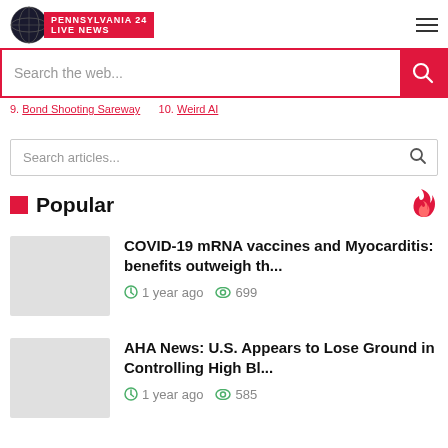Pennsylvania 24 Live News
[Figure (screenshot): Search bar with red background search button and placeholder text 'Search the web...']
9. Bond Shooting Sareway   10. Weird AI
[Figure (screenshot): Article search bar with placeholder 'Search articles...' and magnifier icon]
Popular
COVID-19 mRNA vaccines and Myocarditis: benefits outweigh th...
1 year ago  699
AHA News: U.S. Appears to Lose Ground in Controlling High Bl...
1 year ago  585